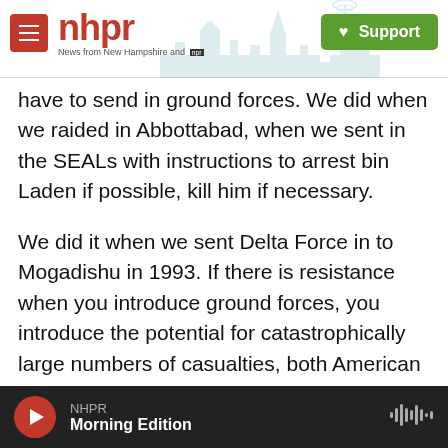nhpr — News from New Hampshire and NPR | Support
have to send in ground forces. We did when we raided in Abbottabad, when we sent in the SEALs with instructions to arrest bin Laden if possible, kill him if necessary.
We did it when we sent Delta Force in to Mogadishu in 1993. If there is resistance when you introduce ground forces, you introduce the potential for catastrophically large numbers of casualties, both American military personnel and civilians.
MONTAGNE: Although, on moral grounds, though,
NHPR — Morning Edition